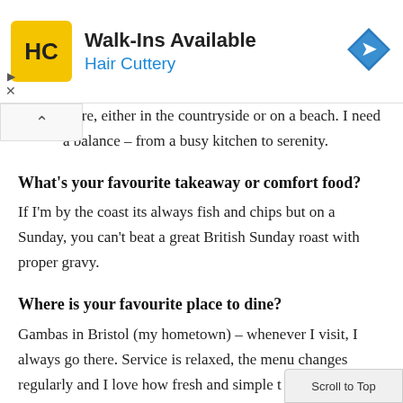[Figure (logo): Hair Cuttery advertisement banner with HC logo, 'Walk-Ins Available' heading, 'Hair Cuttery' subtitle in blue, and a blue diamond-shaped navigation arrow icon on the right]
…ature, either in the countryside or on a beach. I need a balance – from a busy kitchen to serenity.
What's your favourite takeaway or comfort food?
If I'm by the coast its always fish and chips but on a Sunday, you can't beat a great British Sunday roast with proper gravy.
Where is your favourite place to dine?
Gambas in Bristol (my hometown) – whenever I visit, I always go there. Service is relaxed, the menu changes regularly and I love how fresh and simple t… is